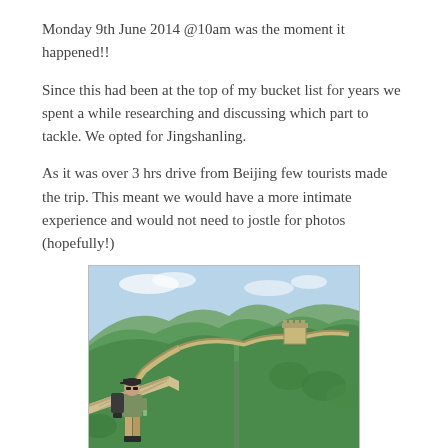Monday 9th June 2014 @10am was the moment it happened!!
Since this had been at the top of my bucket list for years we spent a while researching and discussing which part to tackle. We opted for Jingshanling.
As it was over 3 hrs drive from Beijing few tourists made the trip. This meant we would have a more intimate experience and would not need to jostle for photos (hopefully!)
[Figure (photo): A person with a backpack standing on the Great Wall of China at Jingshanling, with green tree-covered hills and the wall stretching into the distance.]
The Jingshanling area of the wall is a mixture of restored pieces...